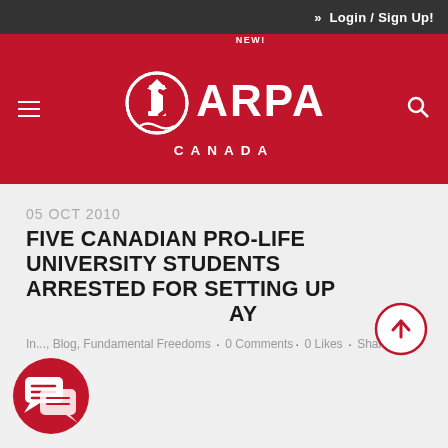Login / Sign Up!
[Figure (logo): ARPA Canada logo with lighthouse icon and NEW! badge in red header]
05 OCT 2010
FIVE CANADIAN PRO-LIFE UNIVERSITY STUDENTS ARRESTED FOR SETTING UP DISPLAY
In..., Blog, Fundamental Freedoms · 0 Comments · 0 Likes · Share